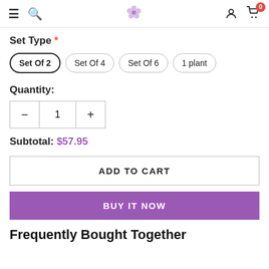Navigation bar with hamburger menu, search, flower logo, user icon, cart (0)
Set Type *
Set Of 2 (selected), Set Of 4, Set Of 6, 1 plant
Quantity:
- 1 +
Subtotal: $57.95
ADD TO CART
BUY IT NOW
Frequently Bought Together